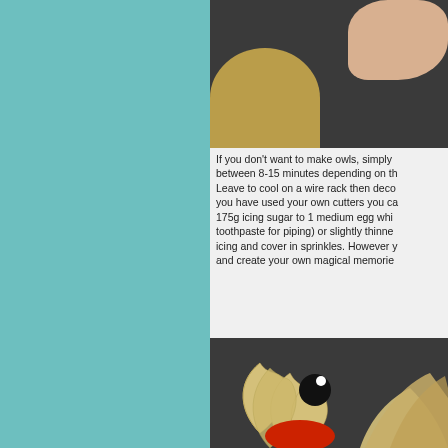[Figure (photo): Photo of cookie dough on a dark surface with a hand pressing it, viewed from above]
If you don't want to make owls, simply between 8-15 minutes depending on th Leave to cool on a wire rack then deco you have used your own cutters you ca 175g icing sugar to 1 medium egg whi toothpaste for piping) or slightly thinne icing and cover in sprinkles. However y and create your own magical memorie
[Figure (photo): Close-up photo of decorated Christmas cookies shaped as holly leaves with black berries and red base, on a dark surface]